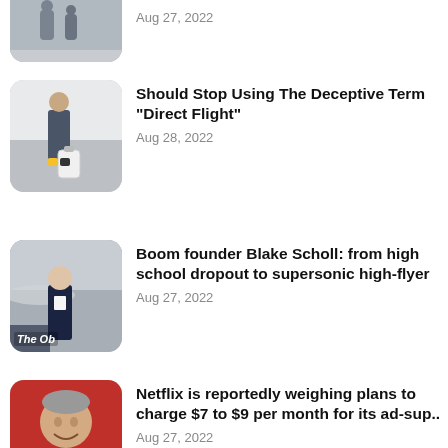Aug 27, 2022
[Figure (photo): Person with luggage at airport]
Should Stop Using The Deceptive Term "Direct Flight"
Aug 28, 2022
[Figure (photo): Blake Scholl in front of aircraft with 'The Ob' watermark]
Boom founder Blake Scholl: from high school dropout to supersonic high-flyer
Aug 27, 2022
[Figure (photo): Man smiling against red background (Netflix CEO Reed Hastings)]
Netflix is reportedly weighing plans to charge $7 to $9 per month for its ad-sup..
Aug 27, 2022
[Figure (illustration): Colorful swirling lines illustration (partial, bottom)]
Quantum heat pump: A new